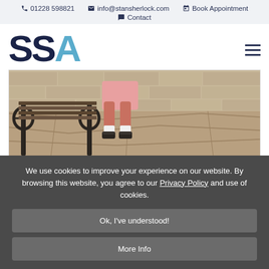📞 01228 598821   ✉ info@stansherlock.com   📅 Book Appointment   💬 Contact
[Figure (logo): SSA logo with SS in dark navy and A in light blue]
[Figure (photo): Person in pink outfit sitting on a wooden park bench on stone pavement]
We use cookies to improve your experience on our website. By browsing this website, you agree to our Privacy Policy and use of cookies.
Ok, I've understood!
More Info